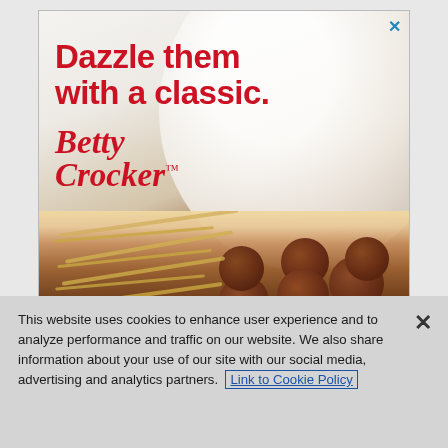[Figure (illustration): Betty Crocker advertisement showing spaghetti and meatballs dish with white bowl in background. Text reads 'Dazzle them with a classic.' with Betty Crocker logo. Close X button in top right corner.]
This website uses cookies to enhance user experience and to analyze performance and traffic on our website. We also share information about your use of our site with our social media, advertising and analytics partners. Link to Cookie Policy